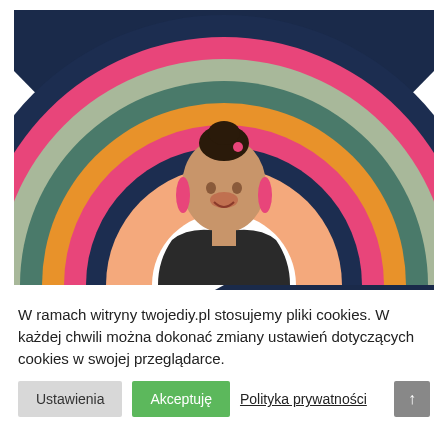[Figure (photo): Woman smiling in front of a colorful semicircle rainbow-striped background with dark navy, orange, green, teal, pink, peach, and sage stripes. She has dark hair in a bun with a pink hair accessory, wearing pink drop earrings and a dark jacket.]
W ramach witryny twojediy.pl stosujemy pliki cookies. W każdej chwili można dokonać zmiany ustawień dotyczących cookies w swojej przeglądarce.
Ustawienia
Akceptuję
Polityka prywatności